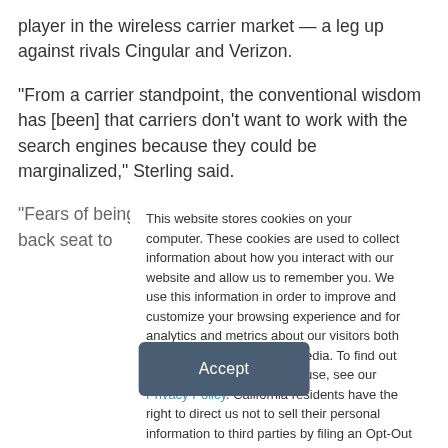player in the wireless carrier market — a leg up against rivals Cingular and Verizon.
“From a carrier standpoint, the conventional wisdom has [been] that carriers don’t want to work with the search engines because they could be marginalized,” Sterling said.
“Fears of being marginalized are going to take a back seat to
This website stores cookies on your computer. These cookies are used to collect information about how you interact with our website and allow us to remember you. We use this information in order to improve and customize your browsing experience and for analytics and metrics about our visitors both on this website and other media. To find out more about the cookies we use, see our Privacy Policy. California residents have the right to direct us not to sell their personal information to third parties by filing an Opt-Out Request: Do Not Sell My Personal Info.
Accept